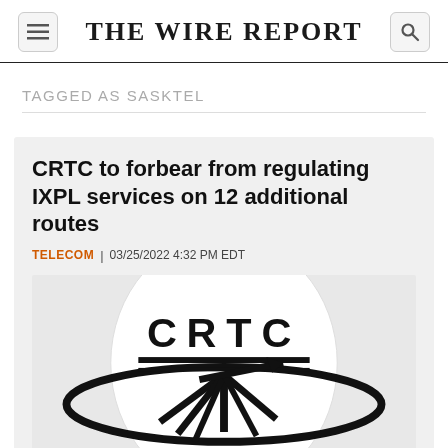THE WIRE REPORT
TAGGED AS SASKTEL
CRTC to forbear from regulating IXPL services on 12 additional routes
TELECOM | 03/25/2022 4:32 PM EDT
[Figure (logo): CRTC logo: a white globe with CRTC text and a stylized arrow/satellite dish icon in black]